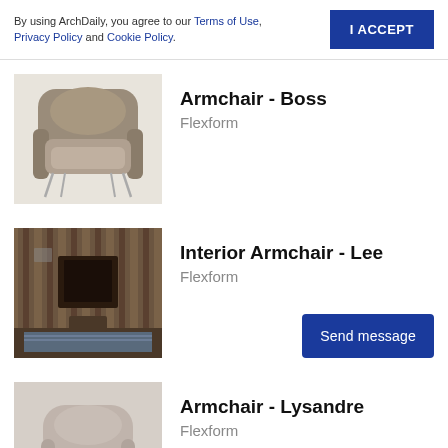By using ArchDaily, you agree to our Terms of Use, Privacy Policy and Cookie Policy.
I ACCEPT
[Figure (photo): Armchair Boss by Flexform — leather upholstered armchair with metal legs on white background]
Armchair - Boss
Flexform
[Figure (photo): Interior Armchair Lee by Flexform — interior room scene with rustic wood paneled walls and fireplace]
Interior Armchair - Lee
Flexform
Send message
[Figure (photo): Armchair Lysandre by Flexform — beige/taupe upholstered armchair, partially visible]
Armchair - Lysandre
Flexform